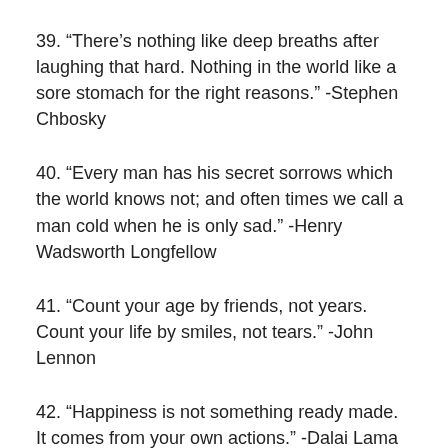39. “There’s nothing like deep breaths after laughing that hard. Nothing in the world like a sore stomach for the right reasons.” -Stephen Chbosky
40. “Every man has his secret sorrows which the world knows not; and often times we call a man cold when he is only sad.” -Henry Wadsworth Longfellow
41. “Count your age by friends, not years. Count your life by smiles, not tears.” -John Lennon
42. “Happiness is not something ready made. It comes from your own actions.” -Dalai Lama XIV
43. “If more of us valued food and cheer and song